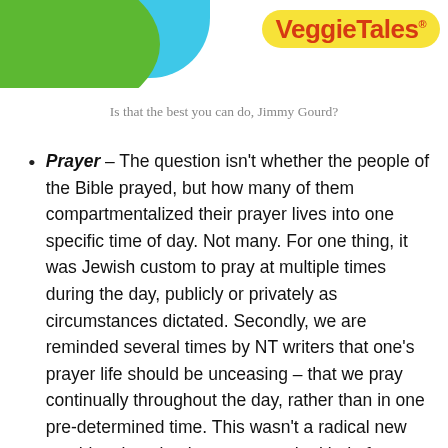[Figure (logo): VeggieTales logo with blue and green background shapes and yellow pill-shaped badge with red VeggieTales text]
Is that the best you can do, Jimmy Gourd?
Prayer – The question isn't whether the people of the Bible prayed, but how many of them compartmentalized their prayer lives into one specific time of day. Not many. For one thing, it was Jewish custom to pray at multiple times during the day, publicly or privately as circumstances dictated. Secondly, we are reminded several times by NT writers that one's prayer life should be unceasing – that we pray continually throughout the day, rather than in one pre-determined time. This wasn't a radical new teaching, but simply a return to the kind of